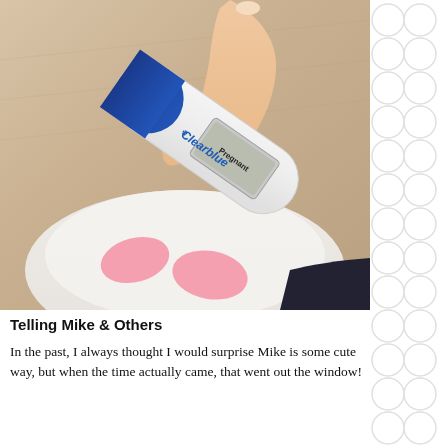[Figure (photo): A hand holding a Clearblue digital pregnancy test displaying 'Pregnant' on its screen, seen from above looking down at feet wearing pink socks on a white fluffy rug, with wooden floor in background.]
Telling Mike & Others
In the past, I always thought I would surprise Mike is some cute way, but when the time actually came, that went out the window!